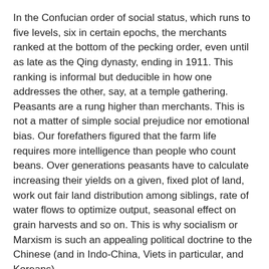In the Confucian order of social status, which runs to five levels, six in certain epochs, the merchants ranked at the bottom of the pecking order, even until as late as the Qing dynasty, ending in 1911. This ranking is informal but deducible in how one addresses the other, say, at a temple gathering. Peasants are a rung higher than merchants. This is not a matter of simple social prejudice nor emotional bias. Our forefathers figured that the farm life requires more intelligence than people who count beans. Over generations peasants have to calculate increasing their yields on a given, fixed plot of land, work out fair land distribution among siblings, rate of water flows to optimize output, seasonal effect on grain harvests and so on. This is why socialism or Marxism is such an appealing political doctrine to the Chinese (and in Indo-China, Viets in particular, and Koreans).
All this is very rational and scientific, the way we organize society. Now take that to answer the question, Why is it people who hold public office, and soldiers in the PLA are considered as public service, have a social status higher than peasants? And peasants have a status higher than capitalists?
MATHS & HEAVEN'S MANDATE